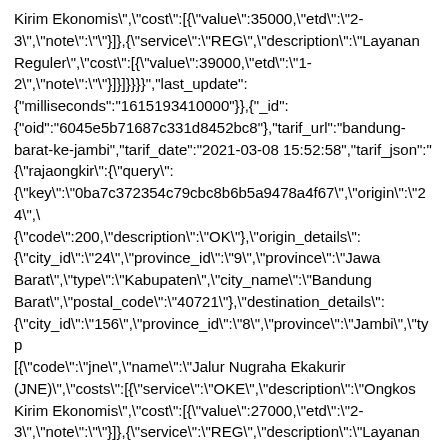Kirim Ekonomis","cost":[{"value":35000,"etd":"2-3","note":""}]},{"service":"REG","description":"Layanan Reguler","cost":[{"value":39000,"etd":"1-2","note":""}]}]}}}}","last_update":{"milliseconds":"1615193410000"},{"_id":{"oid":"6045e5b71687c331d8452bc8"},"tarif_url":"bandung-barat-ke-jambi","tarif_date":"2021-03-08 15:52:58","tarif_json":"{\"rajaongkir\":{\"query\":{\"key\":\"0ba7c372354c79cbc8b6b5a9478a4f67\",\"origin\":\"24\",\"{"code":200,"description":"OK"},"origin_details":{"city_id":"24","province_id":"9","province":"Jawa Barat","type":"Kabupaten","city_name":"Bandung Barat","postal_code":"40721"},"destination_details":{"city_id":"156","province_id":"8","province":"Jambi","typ[{"code":"jne","name":"Jalur Nugraha Ekakurir (JNE)","costs":[{"service":"OKE","description":"Ongkos Kirim Ekonomis","cost":[{"value":27000,"etd":"2-3","note":""}]},{"service":"REG","description":"Layanan Reguler","cost":[{"value":29000,"etd":"1-2","note":""}]}]}}}}","last_update":{"milliseconds":"1615193527000"},{"_id":{"oid":"6045e6537119fb3d502dd62e"},"tarif_url":"bekasi-ke-banjar","tarif_date":"2021-03-08 15:55:34","tarif_json":"{\"rajaongkir\":{\"query\":{\"key\":\"0ba7c372354c79cbc8b6b5a9478a4f67\",\"origin\":\"54\",